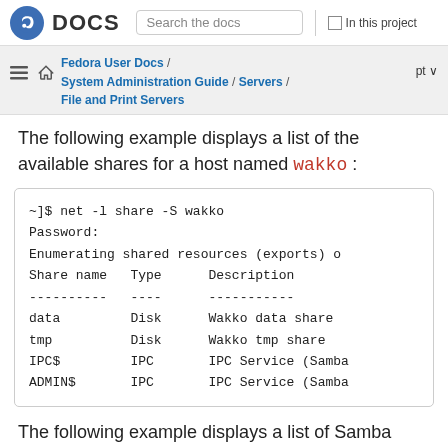DOCS — Search the docs — In this project
Fedora User Docs / System Administration Guide / Servers / File and Print Servers — pt
The following example displays a list of the available shares for a host named wakko:
~]$ net -l share -S wakko
Password:
Enumerating shared resources (exports) o
Share name   Type      Description
----------   ----      -----------
data         Disk      Wakko data share
tmp          Disk      Wakko tmp share
IPC$         IPC       IPC Service (Samba
ADMIN$       IPC       IPC Service (Samba
The following example displays a list of Samba